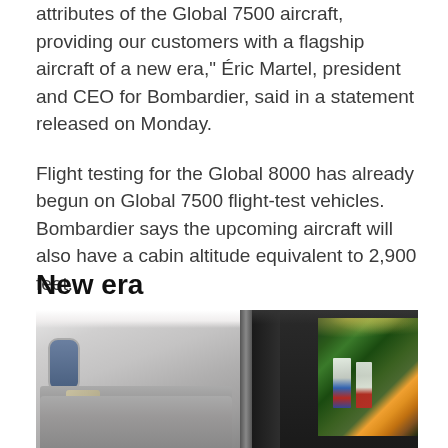attributes of the Global 7500 aircraft, providing our customers with a flagship aircraft of a new era," Éric Martel, president and CEO for Bombardier, said in a statement released on Monday.
Flight testing for the Global 8000 has already begun on Global 7500 flight-test vehicles. Bombardier says the upcoming aircraft will also have a cabin altitude equivalent to 2,900 feet.
New era
[Figure (photo): Interior render of a Bombardier Global business jet cabin showing luxury seating area on the left with sofa and cushion, a central pillar dividing the cabin, and a large entertainment screen on the right displaying a soccer/football match.]